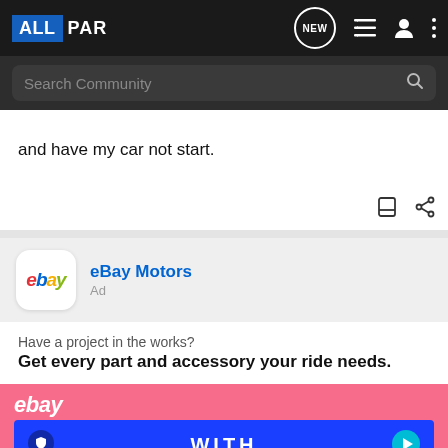ALLPAR — navigation bar with NEW, menu, user, and more icons; Search Community search bar
and have my car not start.
[Figure (screenshot): eBay Motors advertisement with logo, 'Ad' label, tagline 'Have a project in the works?', main text 'Get every part and accessory your ride needs.', and a pink/blue banner with ebay wordmark, spray cans, WITH and UP TO text, shield icon, and play button]
Have a project in the works?
Get every part and accessory your ride needs.